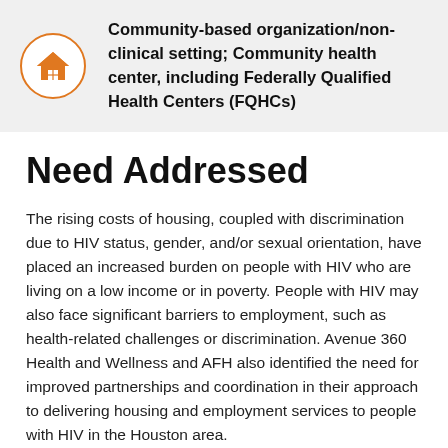[Figure (other): Orange house icon inside an orange circle on a light gray banner background, next to bold text]
Community-based organization/non-clinical setting; Community health center, including Federally Qualified Health Centers (FQHCs)
Need Addressed
The rising costs of housing, coupled with discrimination due to HIV status, gender, and/or sexual orientation, have placed an increased burden on people with HIV who are living on a low income or in poverty. People with HIV may also face significant barriers to employment, such as health-related challenges or discrimination. Avenue 360 Health and Wellness and AFH also identified the need for improved partnerships and coordination in their approach to delivering housing and employment services to people with HIV in the Houston area.